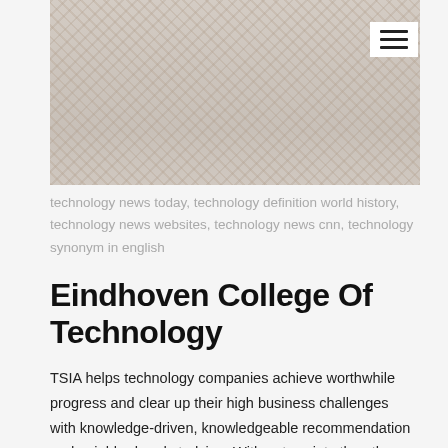[Figure (illustration): Decorative historical or artistic illustration with ornate patterns, faded/light tones, showing what appears to be a tapestry or mural with figures and intricate designs]
technology news today, technology definition world history, technology news websites, technology news cnn, technology synonym in english
Eindhoven College Of Technology
TSIA helps technology companies achieve worthwhile progress and clear up their high business challenges with knowledge-driven, knowledgeable recommendation and neighborhood studying. With out society then there